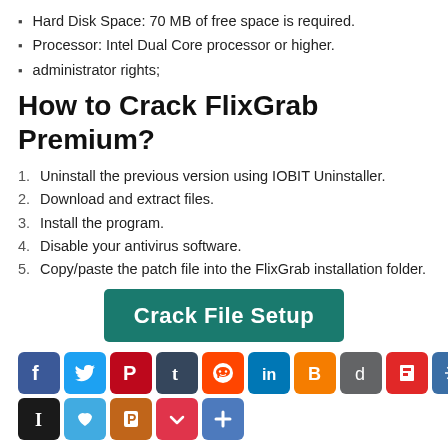Hard Disk Space: 70 MB of free space is required.
Processor: Intel Dual Core processor or higher.
administrator rights;
How to Crack FlixGrab Premium?
1. Uninstall the previous version using IOBIT Uninstaller.
2. Download and extract files.
3. Install the program.
4. Disable your antivirus software.
5. Copy/paste the patch file into the FlixGrab installation folder.
[Figure (other): Crack File Setup button (teal/dark green background with white bold text)]
[Figure (other): Social media sharing icon buttons: Facebook, Twitter, Pinterest, Tumblr, Reddit, LinkedIn, Blogger, Digg, Flipboard, virus/other, Instapaper, like, parking, Pocket, more]